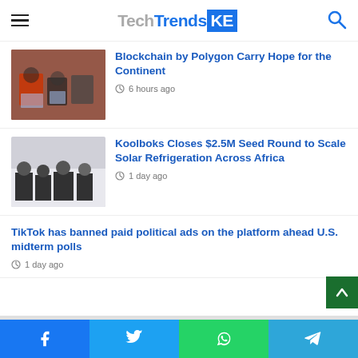TechTrendsKE
Blockchain by Polygon Carry Hope for the Continent
6 hours ago
Koolboks Closes $2.5M Seed Round to Scale Solar Refrigeration Across Africa
1 day ago
TikTok has banned paid political ads on the platform ahead U.S. midterm polls
1 day ago